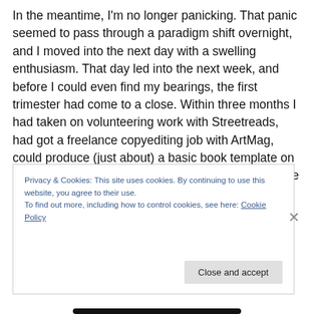In the meantime, I'm no longer panicking. That panic seemed to pass through a paradigm shift overnight, and I moved into the next day with a swelling enthusiasm. That day led into the next week, and before I could even find my bearings, the first trimester had come to a close. Within three months I had taken on volunteering work with Streetreads, had got a freelance copyediting job with ArtMag, could produce (just about) a basic book template on InDesign, and can now claim that I am at least a little bit knowledgeable about the ins and outs of the publishing
Privacy & Cookies: This site uses cookies. By continuing to use this website, you agree to their use.
To find out more, including how to control cookies, see here: Cookie Policy
Close and accept